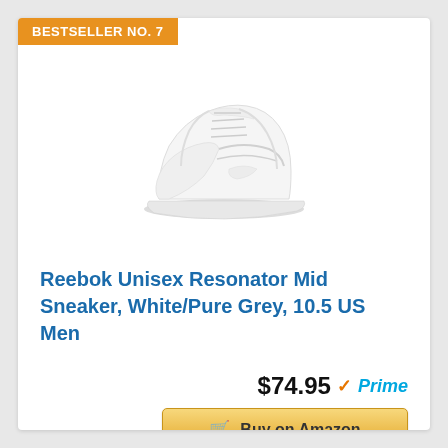BESTSELLER NO. 7
[Figure (photo): White Reebok mid-top sneaker, Resonator Mid model, shown at an angle on white background]
Reebok Unisex Resonator Mid Sneaker, White/Pure Grey, 10.5 US Men
$74.95 Prime
Buy on Amazon